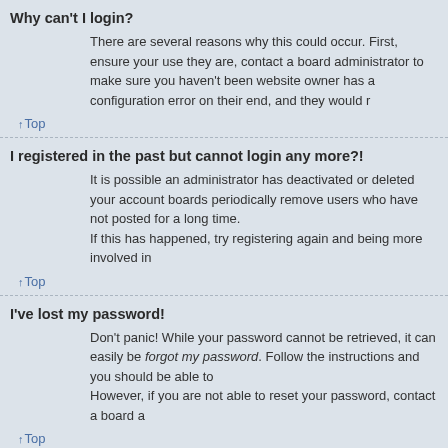Why can't I login?
There are several reasons why this could occur. First, ensure your use they are, contact a board administrator to make sure you haven't been website owner has a configuration error on their end, and they would r
↑Top
I registered in the past but cannot login any more?!
It is possible an administrator has deactivated or deleted your account boards periodically remove users who have not posted for a long time. If this has happened, try registering again and being more involved in
↑Top
I've lost my password!
Don't panic! While your password cannot be retrieved, it can easily be forgot my password. Follow the instructions and you should be able to However, if you are not able to reset your password, contact a board a
↑Top
Why do I get logged off automatically?
If you do not check the Remember me box when you login, the board preset time. This prevents misuse of your account by anyone else. To Remember me box during login. This is not recommended if you acce